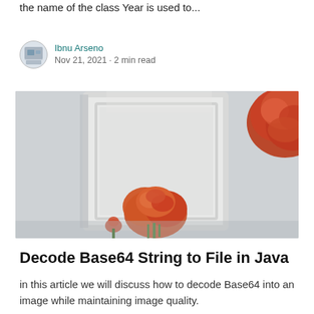the name of the class Year is used to...
Ibnu Arseno
Nov 21, 2021 · 2 min read
[Figure (photo): Photo of orange/red dried flowers in a vase placed in front of a white framed panel on a light gray wall, with another bunch of orange flowers visible at the top right corner.]
Decode Base64 String to File in Java
in this article we will discuss how to decode Base64 into an image while maintaining image quality.